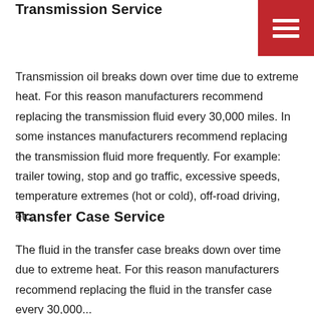Transmission Service
[Figure (other): Red hamburger menu icon in top right corner]
Transmission oil breaks down over time due to extreme heat. For this reason manufacturers recommend replacing the transmission fluid every 30,000 miles. In some instances manufacturers recommend replacing the transmission fluid more frequently. For example: trailer towing, stop and go traffic, excessive speeds, temperature extremes (hot or cold), off-road driving, etc.
Transfer Case Service
The fluid in the transfer case breaks down over time due to extreme heat. For this reason manufacturers recommend replacing the fluid in the transfer case every 30,000...